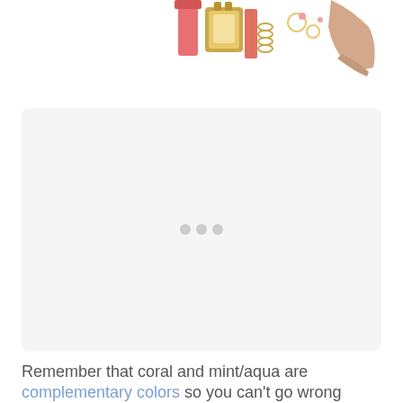[Figure (photo): Flatlay of coral/gold fashion accessories including jewelry, a watch, and cosmetics against a white background, cropped at the top of the page.]
[Figure (photo): Large light gray rounded-rectangle image placeholder with three small gray dots centered in the middle, representing an image slideshow/carousel widget.]
Remember that coral and mint/aqua are complementary colors so you can't go wrong